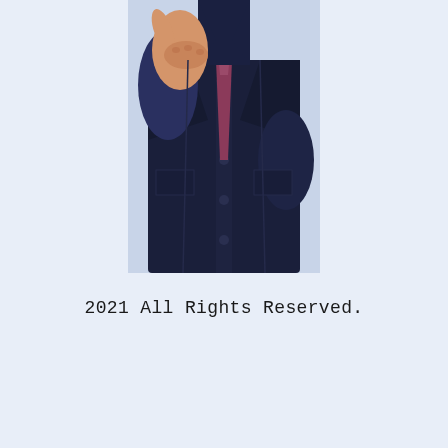[Figure (photo): A person wearing a dark navy suit vest over a dark shirt with a patterned tie, giving a thumbs up gesture with their right hand. The photo is cropped to show the torso and hand only, on a light background.]
2021 All Rights Reserved.